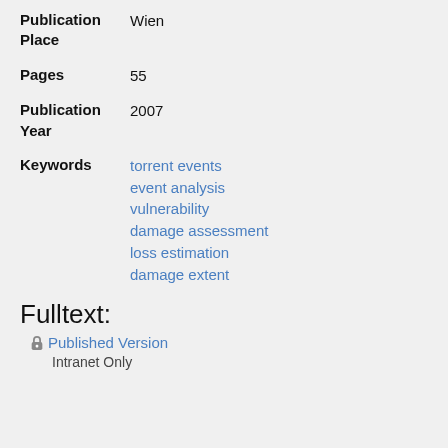Publication Place: Wien
Pages: 55
Publication Year: 2007
Keywords: torrent events, event analysis, vulnerability, damage assessment, loss estimation, damage extent
Fulltext:
Published Version
Intranet Only